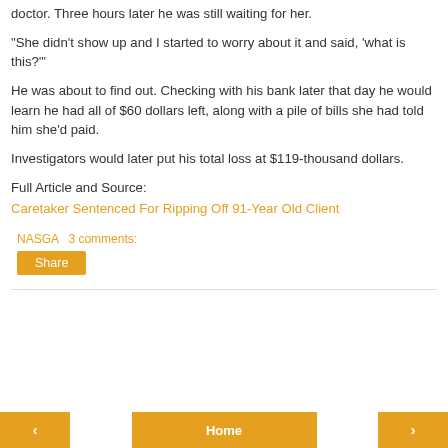doctor. Three hours later he was still waiting for her.
"She didn't show up and I started to worry about it and said, 'what is this?'"
He was about to find out. Checking with his bank later that day he would learn he had all of $60 dollars left, along with a pile of bills she had told him she'd paid.
Investigators would later put his total loss at $119-thousand dollars.
Full Article and Source:
Caretaker Sentenced For Ripping Off 91-Year Old Client
NASGA   3 comments:
Share
< Home >